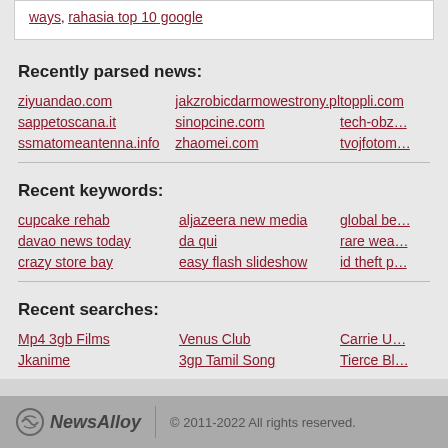ways, rahasia top 10 google
Recently parsed news:
ziyuandao.com
sappetoscana.it
ssmatomeantenna.info
jakzrobicdarmowestrony.pl
sinopcine.com
zhaomei.com
toppli.com
tech-obz...
tvojfotom...
Recent keywords:
cupcake rehab
davao news today
crazy store bay
aljazeera new media
da qui
easy flash slideshow
global be...
rare wea...
id theft p...
Recent searches:
Mp4 3gb Films
Jkanime
Venus Club
3gp Tamil Song
Carrie U...
Tierce Bl...
© 2011-2022 All rights reserved.